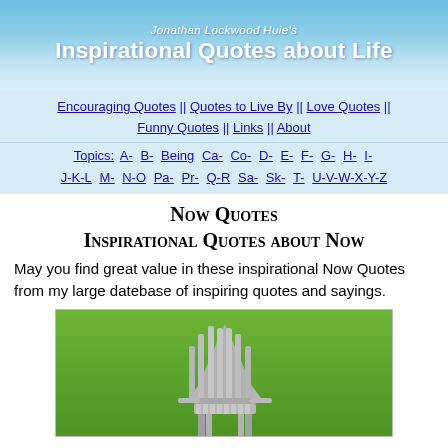Jonathan Lockwood Huie's Inspirational Quotes about Life
Encouraging Quotes || Quotes to Live By || Love Quotes || Funny Quotes || Links || About
Topics: A- B- Being Ca- Co- D- E- F- G- H- I- J-K-L M- N-O Pa- Pr- Q-R Sa- Sk- T- U-V-W-X-Y-Z
Now Quotes
Inspirational Quotes about Now
May you find great value in these inspirational Now Quotes from my large datebase of inspiring quotes and sayings.
[Figure (photo): Adirondack chair viewed from behind, sitting on a green lawn]